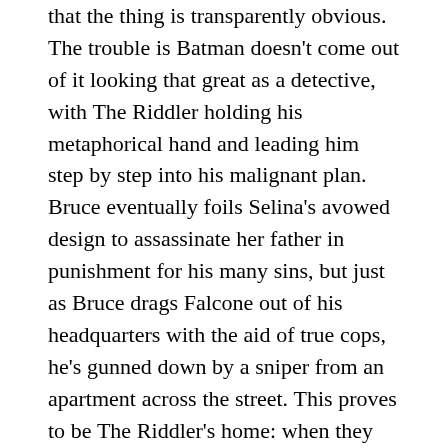that the thing is transparently obvious. The trouble is Batman doesn't come out of it looking that great as a detective, with The Riddler holding his metaphorical hand and leading him step by step into his malignant plan. Bruce eventually foils Selina's avowed design to assassinate her father in punishment for his many sins, but just as Bruce drags Falcone out of his headquarters with the aid of true cops, he's gunned down by a sniper from an apartment across the street. This proves to be The Riddler's home: when they invade the apartment the investigators find evidence of his activities but not their quarry, but he's soon located drinking coffee in a nearby diner.